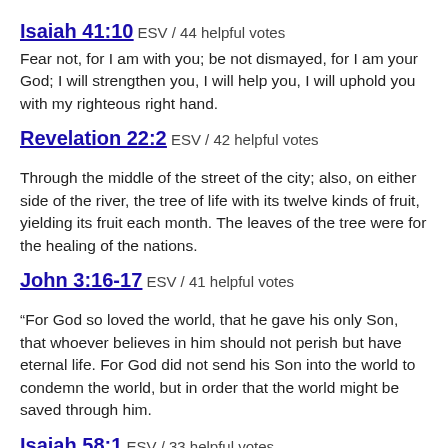Isaiah 41:10 ESV / 44 helpful votes
Fear not, for I am with you; be not dismayed, for I am your God; I will strengthen you, I will help you, I will uphold you with my righteous right hand.
Revelation 22:2 ESV / 42 helpful votes
Through the middle of the street of the city; also, on either side of the river, the tree of life with its twelve kinds of fruit, yielding its fruit each month. The leaves of the tree were for the healing of the nations.
John 3:16-17 ESV / 41 helpful votes
“For God so loved the world, that he gave his only Son, that whoever believes in him should not perish but have eternal life. For God did not send his Son into the world to condemn the world, but in order that the world might be saved through him.
Isaiah 58:1 ESV / 33 helpful votes